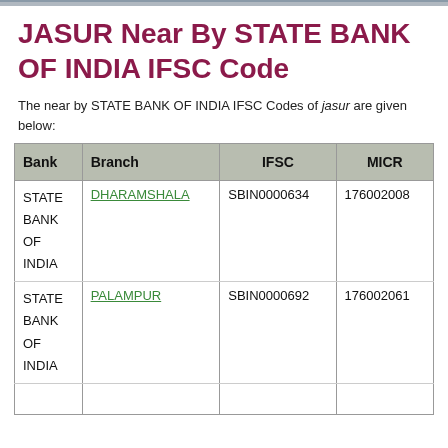JASUR Near By STATE BANK OF INDIA IFSC Code
The near by STATE BANK OF INDIA IFSC Codes of jasur are given below:
| Bank | Branch | IFSC | MICR |
| --- | --- | --- | --- |
| STATE BANK OF INDIA | DHARAMSHALA | SBIN0000634 | 176002008 |
| STATE BANK OF INDIA | PALAMPUR | SBIN0000692 | 176002061 |